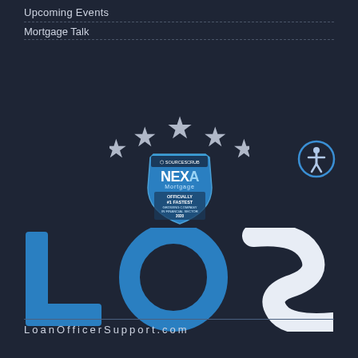Upcoming Events
Mortgage Talk
[Figure (logo): NEXA Mortgage badge with five stars and text: SOURCESCRUB, NEXA Mortgage, OFFICIALLY #1 FASTEST GROWING COMPANY IN FINANCIAL SECTOR 2020]
[Figure (logo): Accessibility icon - person in circle]
[Figure (logo): LOS logo in large blue and white letters]
LoanOfficerSupport.com